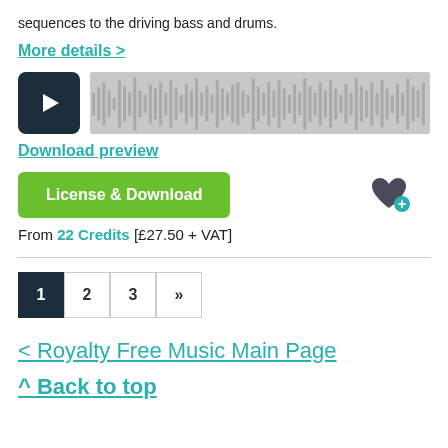sequences to the driving bass and drums.
More details >
[Figure (other): Audio player with play button and waveform visualization]
Download preview
License & Download
From 22 Credits [£27.50 + VAT]
1  2  3  »
< Royalty Free Music Main Page
^ Back to top